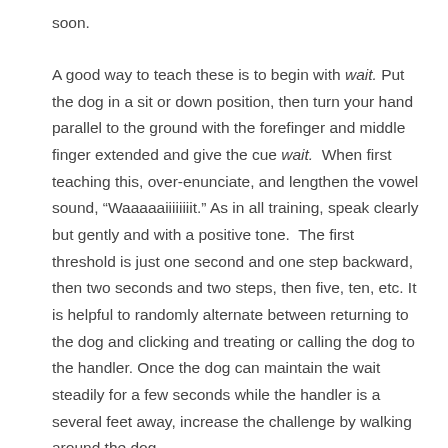soon.
A good way to teach these is to begin with wait. Put the dog in a sit or down position, then turn your hand parallel to the ground with the forefinger and middle finger extended and give the cue wait.  When first teaching this, over-enunciate, and lengthen the vowel sound, “Waaaaaiiiiiiiit.” As in all training, speak clearly but gently and with a positive tone.  The first threshold is just one second and one step backward, then two seconds and two steps, then five, ten, etc. It is helpful to randomly alternate between returning to the dog and clicking and treating or calling the dog to the handler. Once the dog can maintain the wait steadily for a few seconds while the handler is a several feet away, increase the challenge by walking around the dog